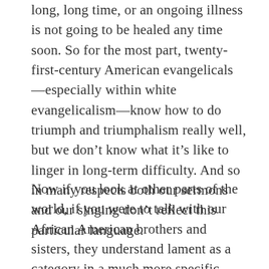long, long time, or an ongoing illness is not going to be healed any time soon. So for the most part, twenty-first-century American evangelicals—especially within white evangelicalism—know how to do triumph and triumphalism really well, but we don't know what it's like to linger in long-term difficulty. And so in many respects both our sermons and our singing don't reflect this particular language.
Now if you look at other parts of the world, if you were to talk with our African American brothers and sisters, they understand lament as a category in a much more specific way than the rest of us. The church in the United States has moved in the last couple hundred years, and lament is just a lost language that I think needs to be recovered.